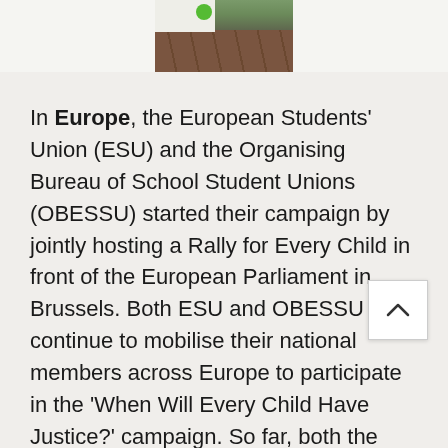[Figure (photo): Top strip showing a partial photo of what appears to be a building interior or outdoor area with brick/wood flooring and a green element visible at top]
In Europe, the European Students' Union (ESU) and the Organising Bureau of School Student Unions (OBESSU) started their campaign by jointly hosting a Rally for Every Child in front of the European Parliament in Brussels. Both ESU and OBESSU will continue to mobilise their national members across Europe to participate in the 'When Will Every Child Have Justice?' campaign. So far, both the Danish Students' Union and Croatian Students' Unions have joined the campaign, and a major demonstration is scheduled to be held in Berlin in November.